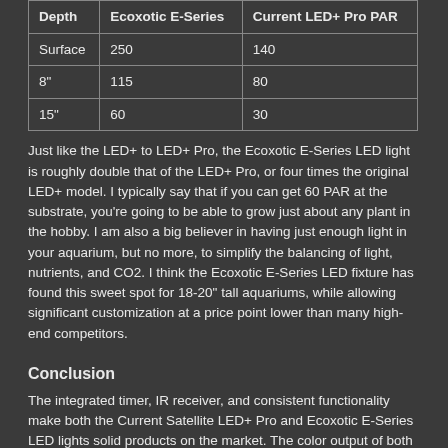| Depth | Ecoxotic E-Series | Current LED+ Pro PAR |
| --- | --- | --- |
| Surface | 250 | 140 |
| 8" | 115 | 80 |
| 15" | 60 | 30 |
Just like the LED+ to LED+ Pro, the Ecoxotic E-Series LED light is roughly double that of the LED+ Pro, or four times the original LED+ model. I typically say that if you can get 60 PAR at the substrate, you're going to be able to grow just about any plant in the hobby. I am also a big believer in having just enough light in your aquarium, but no more, to simplify the balancing of light, nutrients, and CO2. I think the Ecoxotic E-Series LED fixture has found this sweet spot for 18-20" tall aquariums, while allowing significant customization at a price point lower than many high-end competitors.
Conclusion
The integrated timer, IR receiver, and consistent functionality make both the Current Satellite LED+ Pro and Ecoxotic E-Series LED lights solid products on the market. The color output of both is tremendous, and the increased PAR output means that these lights are usable in medium and high light situations, and I would recommend highly for these uses.